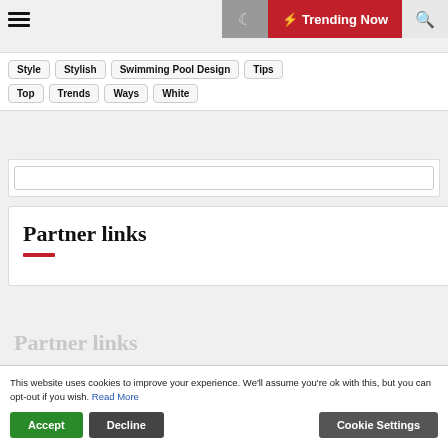Trending Now
Style
Stylish
Swimming Pool Design
Tips
Top
Trends
Ways
White
Partner links
Partner links
This website uses cookies to improve your experience. We'll assume you're ok with this, but you can opt-out if you wish. Read More
Accept | Decline | Cookie Settings